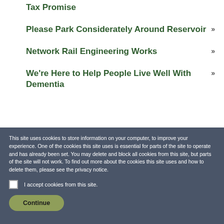Tax Promise »
Please Park Considerately Around Reservoir »
Network Rail Engineering Works »
We're Here to Help People Live Well With Dementia »
This site uses cookies to store information on your computer, to improve your experience. One of the cookies this site uses is essential for parts of the site to operate and has already been set. You may delete and block all cookies from this site, but parts of the site will not work. To find out more about the cookies this site uses and how to delete them, please see the privacy notice.
I accept cookies from this site.
Continue